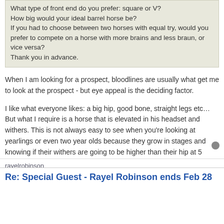What type of front end do you prefer: square or V?
How big would your ideal barrel horse be?
If you had to choose between two horses with equal try, would you prefer to compete on a horse with more brains and less braun, or vice versa?
Thank you in advance.
When I am looking for a prospect, bloodlines are usually what get me to look at the prospect - but eye appeal is the deciding factor.
I like what everyone likes: a big hip, good bone, straight legs etc... But what I require is a horse that is elevated in his headset and withers. This is not always easy to see when you're looking at yearlings or even two year olds because they grow in stages and knowing if their withers are going to be higher than their hip at 5 years of age can be tough. I like a lot of angle on a horse's hind legs. I also want my horses slightly narrower in the front than the back. As far as size goes, I've had success with horses 14 hands up to 16 hands but I probably prefer horses right around 15 hands.
rayelrobinson
Re: Special Guest - Rayel Robinson ends Feb 28